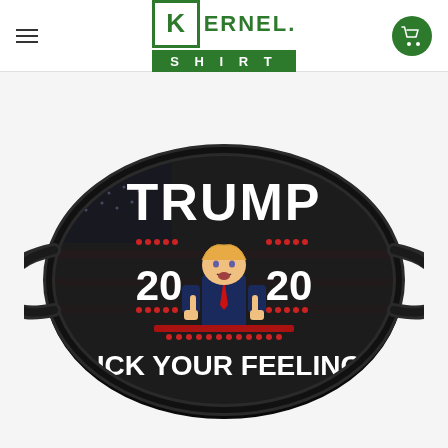Kernel Shirt - online store logo header with navigation
[Figure (photo): A face mask product photo with dark/black background featuring an American flag pattern, the word 'TRUMP' in large white letters at top, '2020' on either side of a cartoon illustration of Trump giving middle fingers, and 'FUCK YOUR FEELINGS' in white letters at the bottom. The mask has ear loops on both sides.]